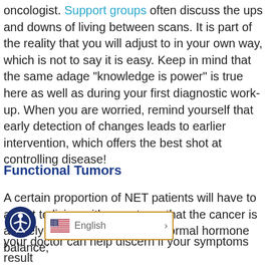oncologist. Support groups often discuss the ups and downs of living between scans. It is part of the reality that you will adjust to in your own way, which is not to say it is easy. Keep in mind that the same adage “knowledge is power” is true here as well as during your first diagnostic work-up. When you are worried, remind yourself that early detection of changes leads to earlier intervention, which offers the best shot at controlling disease!
Functional Tumors
A certain proportion of NET patients will have to adjust to living with symptoms that the cancer is actively causing. It disrupts your normal hormone balance; your doctor can help discern if your symptoms result